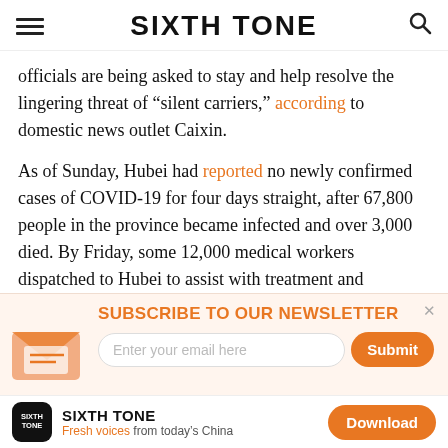SIXTH TONE
officials are being asked to stay and help resolve the lingering threat of “silent carriers,” according to domestic news outlet Caixin.
As of Sunday, Hubei had reported no newly confirmed cases of COVID-19 for four days straight, after 67,800 people in the province became infected and over 3,000 died. By Friday, some 12,000 medical workers dispatched to Hubei to assist with treatment and containment efforts had left the province.
[Figure (infographic): Newsletter subscription banner with envelope icon, orange heading SUBSCRIBE TO OUR NEWSLETTER, email input field, and Submit button]
SIXTH TONE — Fresh voices from today’s China — Download app button